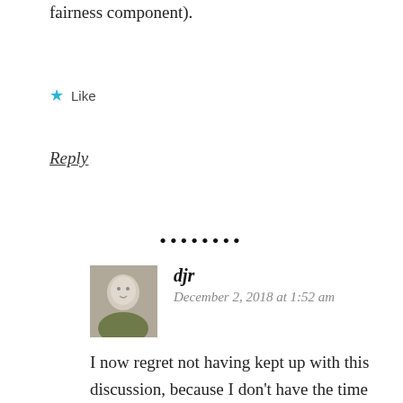fairness component).
Like
Reply
••••••••
djr
December 2, 2018 at 1:52 am
I now regret not having kept up with this discussion, because I don't have the time or energy to read it all with the care it deserves.